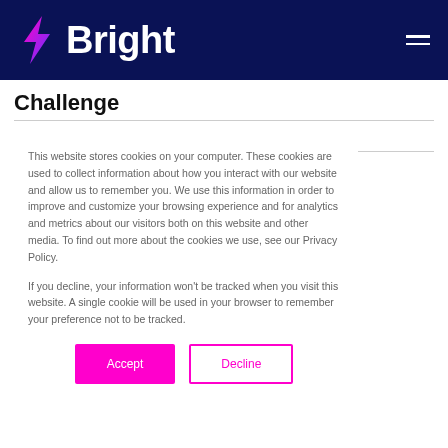Bright
Challenge
Softwire are a well established and innovative software
This website stores cookies on your computer. These cookies are used to collect information about how you interact with our website and allow us to remember you. We use this information in order to improve and customize your browsing experience and for analytics and metrics about our visitors both on this website and other media. To find out more about the cookies we use, see our Privacy Policy.
If you decline, your information won't be tracked when you visit this website. A single cookie will be used in your browser to remember your preference not to be tracked.